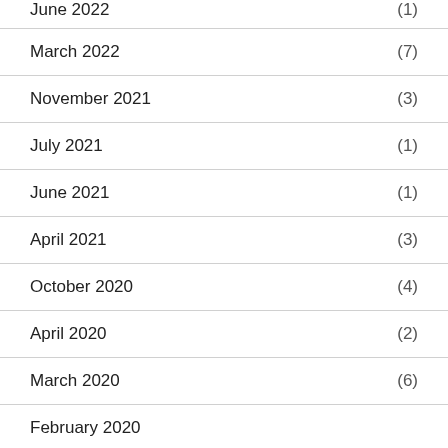June 2022 (1)
March 2022 (7)
November 2021 (3)
July 2021 (1)
June 2021 (1)
April 2021 (3)
October 2020 (4)
April 2020 (2)
March 2020 (6)
February 2020
November 2019 (5)